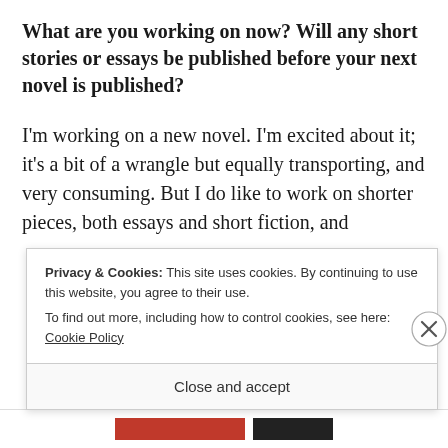What are you working on now? Will any short stories or essays be published before your next novel is published?
I'm working on a new novel. I'm excited about it; it's a bit of a wrangle but equally transporting, and very consuming. But I do like to work on shorter pieces, both essays and short fiction, and
Privacy & Cookies: This site uses cookies. By continuing to use this website, you agree to their use.
To find out more, including how to control cookies, see here: Cookie Policy
Close and accept